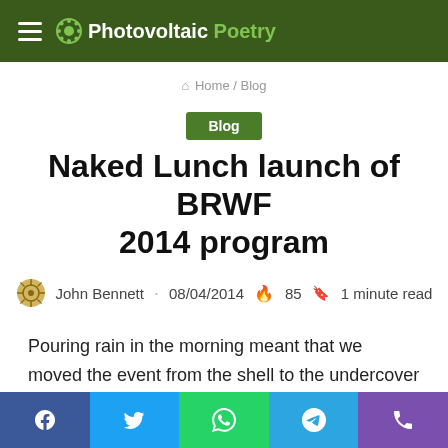Photovoltaic Poetry
Home / Blog
Blog
Naked Lunch launch of BRWF 2014 program
John Bennett · 08/04/2014 🔥 85 🔖 1 minute read
Pouring rain in the morning meant that we moved the event from the shell to the undercover cafe area, by the time the event kicked off with Saffron the rain has stopped its white noise applause and the sun even came out later.
Facebook · Twitter · WhatsApp · Telegram · Phone